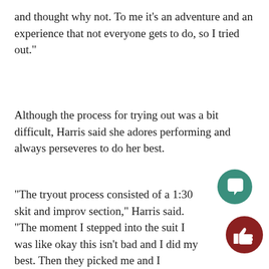and thought why not. To me it’s an adventure and an experience that not everyone gets to do, so I tried out.”
Although the process for trying out was a bit difficult, Harris said she adores performing and always perseveres to do her best.
“The tryout process consisted of a 1:30 skit and improv section,” Harris said. “The moment I stepped into the suit I was like okay this isn’t bad and I did my best. Then they picked me and I officially became Boomer.”
[Figure (illustration): Teal circular chat/comment icon button]
[Figure (illustration): Dark red circular thumbs-up/like icon button]